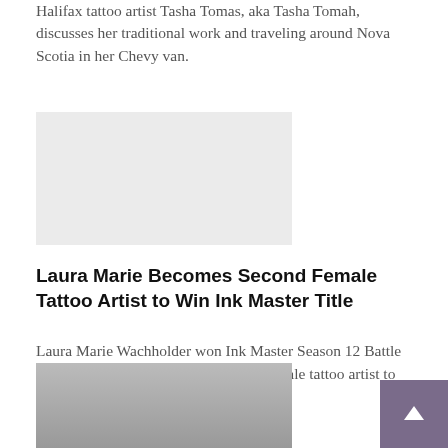Halifax tattoo artist Tasha Tomas, aka Tasha Tomah, discusses her traditional work and traveling around Nova Scotia in her Chevy van.
[Figure (photo): Light gray placeholder image rectangle]
Laura Marie Becomes Second Female Tattoo Artist to Win Ink Master Title
Laura Marie Wachholder won Ink Master Season 12 Battle of the Sexes, making her the second female tattoo artist to win the reality television competition.
[Figure (photo): Photo of a woman with long dark hair, smiling, wearing a light-colored cardigan, against a gray background]